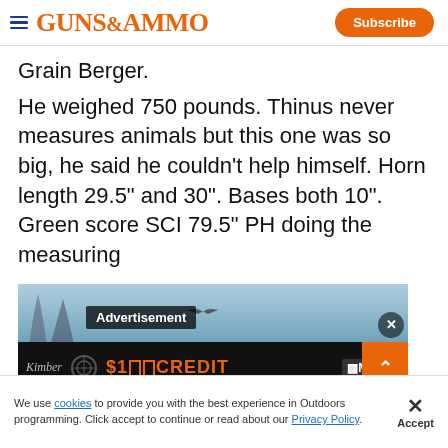GUNS&AMMO | Subscribe
Grain Berger.
He weighed 750 pounds. Thinus never measures animals but this one was so big, he said he couldn't help himself. Horn length 29.5" and 30". Bases both 10". Green score SCI 79.5" PH doing the measuring
[Figure (screenshot): Advertisement banner showing '$100 CREDIT' and 'MAKO' branding over a dark background with scope imagery]
We use cookies to provide you with the best experience in Outdoors programming. Click accept to continue or read about our Privacy Policy.